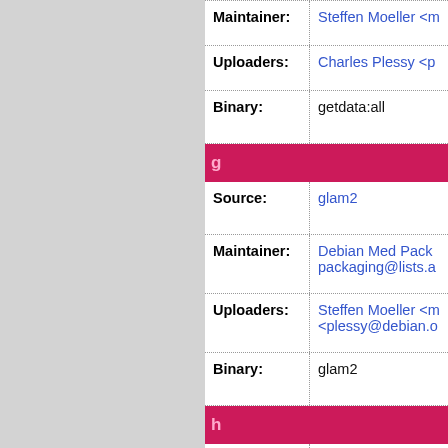| Field | Value |
| --- | --- |
| Maintainer: | Steffen Moeller <m… |
| Uploaders: | Charles Plessy <p… |
| Binary: | getdata:all |
g…
| Field | Value |
| --- | --- |
| Source: | glam2 |
| Maintainer: | Debian Med Pack… packaging@lists.a… |
| Uploaders: | Steffen Moeller <m… <plessy@debian.o… |
| Binary: | glam2 |
h…
| Field | Value |
| --- | --- |
| Source: | htslib |
| Maintainer: | Debian Med Pack… packaging@lists.a… |
| Uploaders: | Charles Plessy <p… |